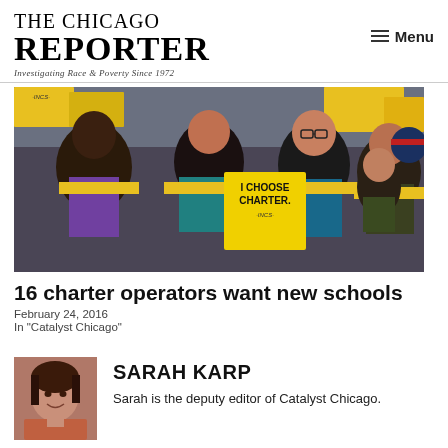THE CHICAGO REPORTER — Investigating Race & Poverty Since 1972
[Figure (photo): Crowd of protesters wearing yellow scarves and holding yellow signs, including one that reads 'I CHOOSE CHARTER.' with an InCS logo, at a charter school rally.]
16 charter operators want new schools
February 24, 2016
In "Catalyst Chicago"
[Figure (photo): Headshot of Sarah Karp, a woman with dark hair smiling.]
SARAH KARP
Sarah is the deputy editor of Catalyst Chicago.